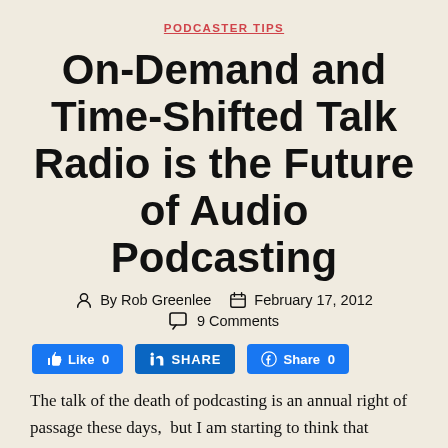PODCASTER TIPS
On-Demand and Time-Shifted Talk Radio is the Future of Audio Podcasting
By Rob Greenlee   February 17, 2012   9 Comments
[Figure (other): Social sharing buttons: Like 0, in SHARE, Share 0]
The talk of the death of podcasting is an annual right of passage these days,  but I am starting to think that